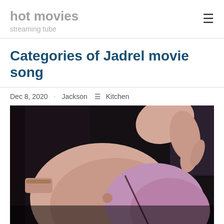hot movies
streaming tube
Categories of Jadrel movie song
Dec 8, 2020  Jackson  Kitchen
[Figure (photo): Movie thumbnail showing a person in a purple/pink top, close-up scene from a film. Below it is a partial strip of another thumbnail.]